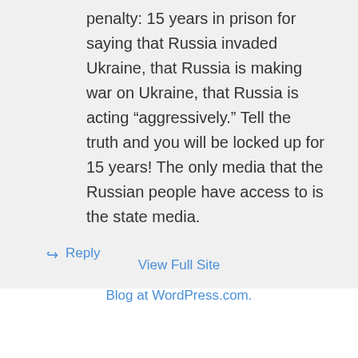penalty: 15 years in prison for saying that Russia invaded Ukraine, that Russia is making war on Ukraine, that Russia is acting “aggressively.” Tell the truth and you will be locked up for 15 years! The only media that the Russian people have access to is the state media.
↪ Reply
View Full Site
Blog at WordPress.com.